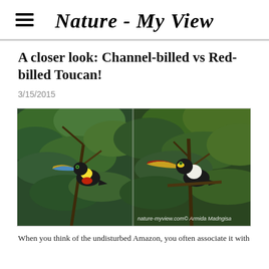Nature - My View
A closer look: Channel-billed vs Red-billed Toucan!
3/15/2015
[Figure (photo): Side-by-side photos of two toucans in trees: Channel-billed Toucan on the left and Red-billed Toucan on the right, both in jungle/Amazon foliage. Watermark: nature-myview.com© Armida Madngisa]
When you think of the undisturbed Amazon, you often associate it with